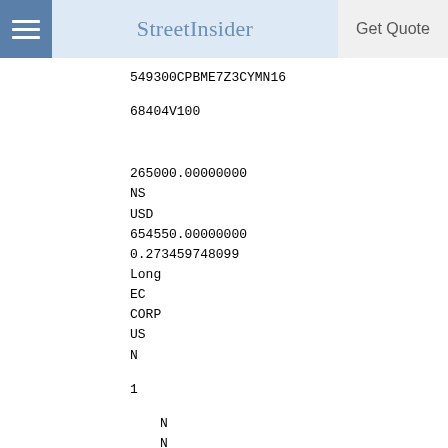StreetInsider | Get Quote
549300CPBME7Z3CYMN16
68404V100
265000.00000000
NS
USD
654550.00000000
0.273459748099
Long
EC
CORP
US
N
1
N
N